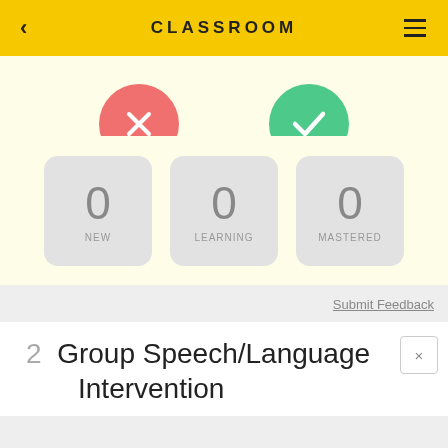CLASSROOM
[Figure (screenshot): Two circular buttons: a red circle with white X (incorrect) and a green circle with white checkmark (correct)]
[Figure (infographic): Three stat cards showing 0 NEW, 0 LEARNING, 0 MASTERED]
Submit Feedback
2  Group Speech/Language Intervention